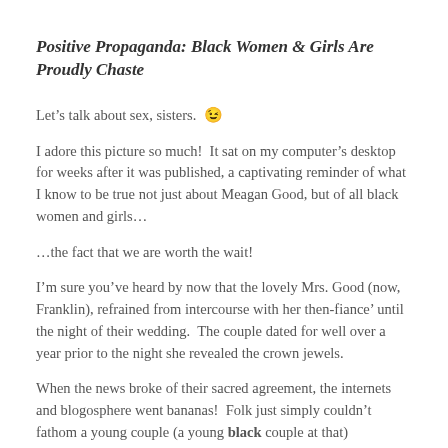Positive Propaganda:  Black Women & Girls Are Proudly Chaste
Let's talk about sex, sisters. 😉
I adore this picture so much!  It sat on my computer's desktop for weeks after it was published, a captivating reminder of what I know to be true not just about Meagan Good, but of all black women and girls…
…the fact that we are worth the wait!
I'm sure you've heard by now that the lovely Mrs. Good (now, Franklin), refrained from intercourse with her then-fiance' until the night of their wedding.  The couple dated for well over a year prior to the night she revealed the crown jewels.
When the news broke of their sacred agreement, the internets and blogosphere went bananas!  Folk just simply couldn't fathom a young couple (a young black couple at that) voluntarily eschewing premarital sex; it was like they stepped out of a Victorian novel or something!